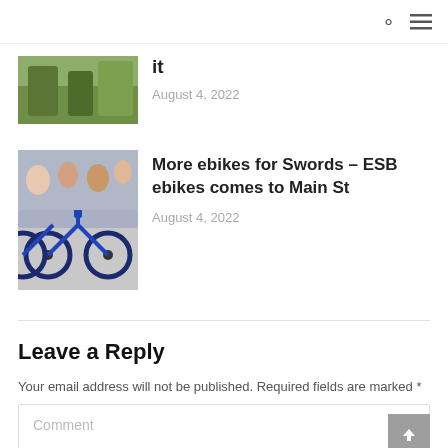it
August 4, 2022
[Figure (photo): Row of blue ebikes parked closely together]
More ebikes for Swords – ESB ebikes comes to Main St
August 4, 2022
Leave a Reply
Your email address will not be published. Required fields are marked *
Comment